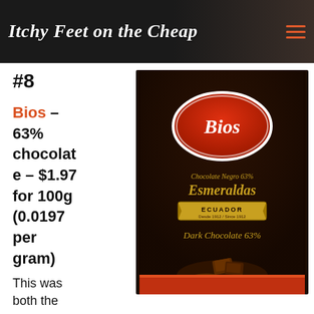Itchy Feet on the Cheap
#8
Bios – 63% chocolate – $1.97 for 100g (0.0197 per gram)
This was both the
[Figure (photo): Bios brand dark chocolate 63% Esmeraldas Ecuador chocolate bar packaging. Black packaging with red oval Bios logo, gold text reading Chocolate Negro 63% Esmeraldas, gold banner with ECUADOR Desde 1912 / Since 1912, and text Dark Chocolate 63% with chocolate pieces imagery.]